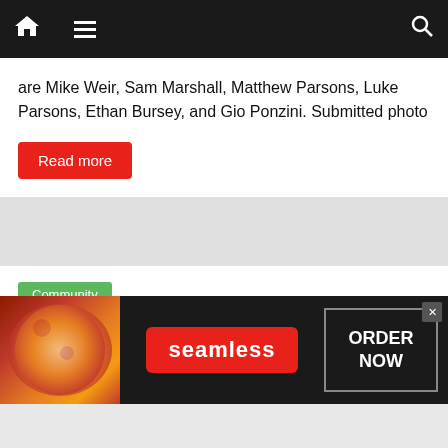Navigation bar with home, menu, and search icons
are Mike Weir, Sam Marshall, Matthew Parsons, Luke Parsons, Ethan Bursey, and Gio Ponzini. Submitted photo
Read more
Community
Thieves grab generator from depot
November 25, 2021  Chris  0 Comments
By Staff/November 18, 2021 The Harbour Grace RCMP are
[Figure (infographic): Advertisement banner for Seamless food delivery with pizza image on the left, Seamless logo in center, and ORDER NOW button on the right with an X close button]